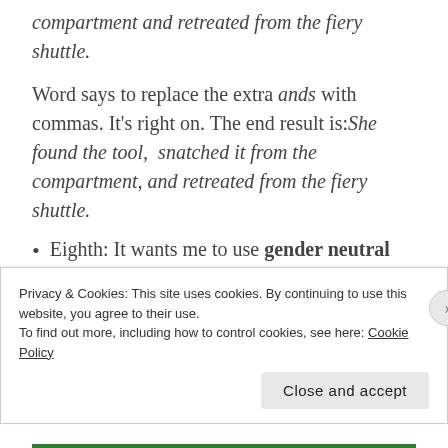compartment and retreated from the fiery shuttle.
Word says to replace the extra ands with commas. It's right on. The end result is:She found the tool,  snatched it from the compartment, and retreated from the fiery shuttle.
Eighth: It wants me to use gender neutral expressions. Crew Members instead of Crewmen. I'll consider it… done. I'll change it. Person instead of guy. Nope, he's a guy. I'm
Privacy & Cookies: This site uses cookies. By continuing to use this website, you agree to their use.
To find out more, including how to control cookies, see here: Cookie Policy